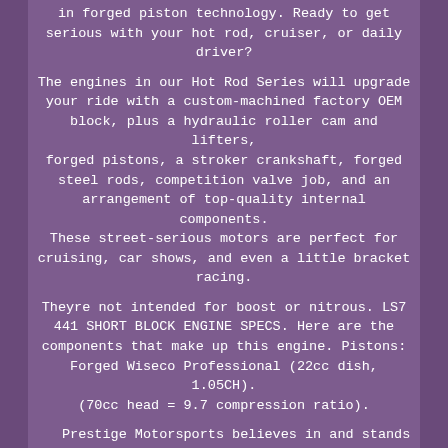in forged piston technology. Ready to get serious with your hot rod, cruiser, or daily driver?
The engines in our Hot Rod Series will upgrade your ride with a custom-machined factory OEM block, plus a hydraulic roller cam and lifters, forged pistons, a stroker crankshaft, forged steel rods, competition valve job, and an arrangement of top-quality internal components. These street-serious motors are perfect for cruising, car shows, and even a little bracket racing.
Theyre not intended for boost or nitrous. LS7 441 SHORT BLOCK ENGINE SPECS. Here are the components that make up this engine. Pistons: Forged Wiseco Professional (22cc dish, 1.05CH). (70cc head = 9.7 compression ratio).
Prestige Motorsports believes in and stands behind our engines. Thats why we have offered a. Get the best of the best with our Ultimate Turn-Key Package. This comprehensive package delivers everything you need to bring the vehicle of your dreams to life. Message us to find out more!
Engine + Transmission Package + Cooling System + Fuel Supply. Other options available message for details. We genuinely believe in the value of Prestige Motorsports engines and vehicles. We